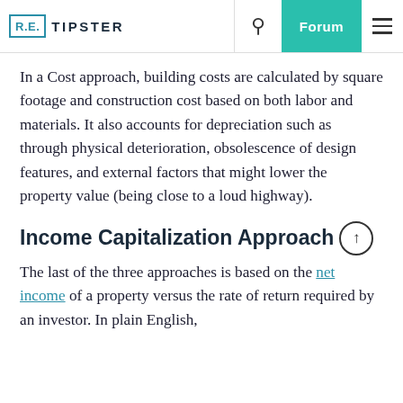R.E. TIPSTER | Search | Forum | Menu
In a Cost approach, building costs are calculated by square footage and construction cost based on both labor and materials. It also accounts for depreciation such as through physical deterioration, obsolescence of design features, and external factors that might lower the property value (being close to a loud highway).
Income Capitalization Approach
The last of the three approaches is based on the net income of a property versus the rate of return required by an investor. In plain English,